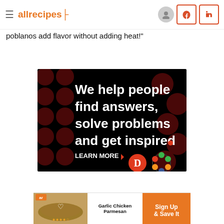allrecipes
poblanos add flavor without adding heat!"
[Figure (infographic): Advertisement: 'We help people find answers, solve problems and get inspired. LEARN MORE' with Dotdash and Meredith logos on black background with dark red polka dot pattern.]
[Figure (infographic): Bottom ad strip: Garlic Chicken Parmesan recipe card with orange Sign Up & Save It button.]